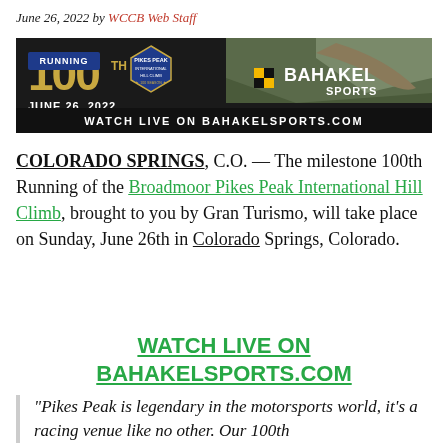June 26, 2022 by WCCB Web Staff
[Figure (photo): Banner advertisement showing '100th Running Pikes Peak International Hill Climb, June 26, 2022 - Watch Live on Bahakelsports.com' with Bahakel Sports logo on dark background with mountain road]
COLORADO SPRINGS, C.O. — The milestone 100th Running of the Broadmoor Pikes Peak International Hill Climb, brought to you by Gran Turismo, will take place on Sunday, June 26th in Colorado Springs, Colorado.
WATCH LIVE ON BAHAKELSPORTS.COM
“Pikes Peak is legendary in the motorsports world, it’s a racing venue like no other. Our 100th